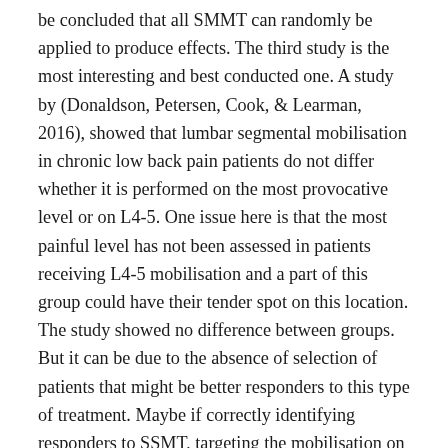be concluded that all SMMT can randomly be applied to produce effects. The third study is the most interesting and best conducted one. A study by (Donaldson, Petersen, Cook, & Learman, 2016), showed that lumbar segmental mobilisation in chronic low back pain patients do not differ whether it is performed on the most provocative level or on L4-5. One issue here is that the most painful level has not been assessed in patients receiving L4-5 mobilisation and a part of this group could have their tender spot on this location. The study showed no difference between groups. But it can be due to the absence of selection of patients that might be better responders to this type of treatment. Maybe if correctly identifying responders to SSMT, targeting the mobilisation on this subgroup of patient would be more beneficial; but this is still an under-studied area (Rabey et al., 2017) and it does not refute the study's results in anyway. However, interestingly even though